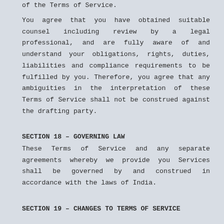of the Terms of Service.
You agree that you have obtained suitable counsel including review by a legal professional, and are fully aware of and understand your obligations, rights, duties, liabilities and compliance requirements to be fulfilled by you. Therefore, you agree that any ambiguities in the interpretation of these Terms of Service shall not be construed against the drafting party.
SECTION 18 – GOVERNING LAW
These Terms of Service and any separate agreements whereby we provide you Services shall be governed by and construed in accordance with the laws of India.
SECTION 19 – CHANGES TO TERMS OF SERVICE